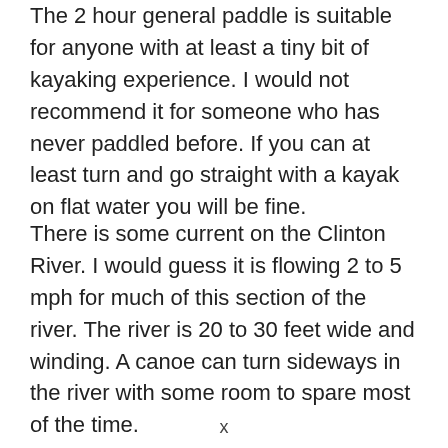The 2 hour general paddle is suitable for anyone with at least a tiny bit of kayaking experience. I would not recommend it for someone who has never paddled before. If you can at least turn and go straight with a kayak on flat water you will be fine.
There is some current on the Clinton River. I would guess it is flowing 2 to 5 mph for much of this section of the river. The river is 20 to 30 feet wide and winding. A canoe can turn sideways in the river with some room to spare most of the time.
x